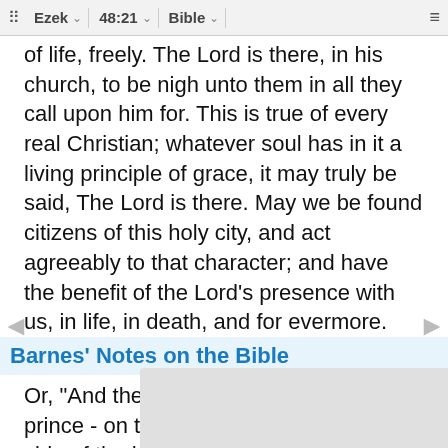Ezek  48:21  Bible
of life, freely. The Lord is there, in his church, to be nigh unto them in all they call upon him for. This is true of every real Christian; whatever soul has in it a living principle of grace, it may truly be said, The Lord is there. May we be found citizens of this holy city, and act agreeably to that character; and have the benefit of the Lord's presence with us, in life, in death, and for evermore.
Barnes' Notes on the Bible
Or, "And the residue shall be for the prince - on the one side and on the other side of the holy oblation and of the possession of the city over against the 25,000 of the oblation toward the east border and westward … east border … Benis…